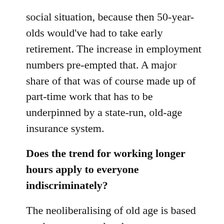social situation, because then 50-year-olds would've had to take early retirement. The increase in employment numbers pre-empted that. A major share of that was of course made up of part-time work that has to be underpinned by a state-run, old-age insurance system.
Does the trend for working longer hours apply to everyone indiscriminately?
The neoliberalising of old age is based on the attempt to level out age differentiation and to enable people to work for as long as possible. I think that's against older people's real interests. Societies like the ones we live in ought to support